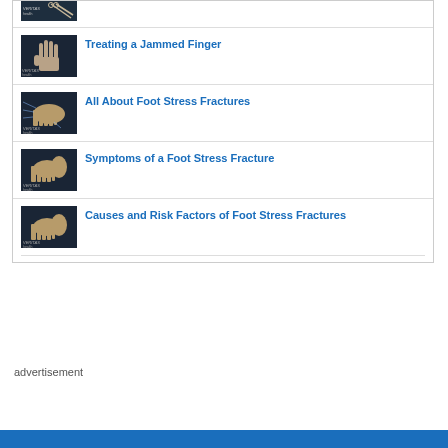[Figure (screenshot): Partial thumbnail of a video at top (cropped), showing a hand/finger on dark background with VERITAS health logo]
Treating a Jammed Finger
[Figure (screenshot): Thumbnail showing a hand with fingers spread against dark background, VERITAS health logo]
All About Foot Stress Fractures
[Figure (screenshot): Thumbnail showing foot bone anatomy diagram on dark background, VERITAS health logo]
Symptoms of a Foot Stress Fracture
[Figure (screenshot): Thumbnail showing foot bone anatomy on dark background, VERITAS health logo]
Causes and Risk Factors of Foot Stress Fractures
[Figure (screenshot): Thumbnail showing foot bone anatomy on dark background, VERITAS health logo]
advertisement